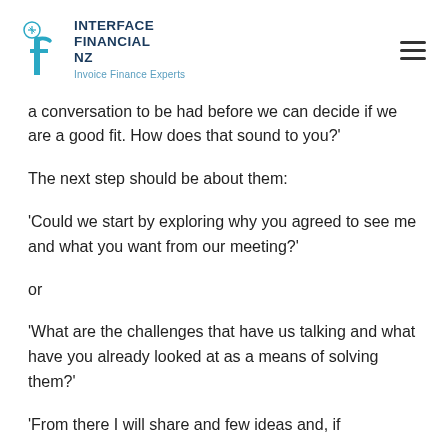[Figure (logo): Interface Financial NZ logo with teal 'f' icon and text 'INTERFACE FINANCIAL NZ / Invoice Finance Experts']
a conversation to be had before we can decide if we are a good fit. How does that sound to you?'
The next step should be about them:
'Could we start by exploring why you agreed to see me and what you want from our meeting?'
or
'What are the challenges that have us talking and what have you already looked at as a means of solving them?'
'From there I will share and few ideas and, if